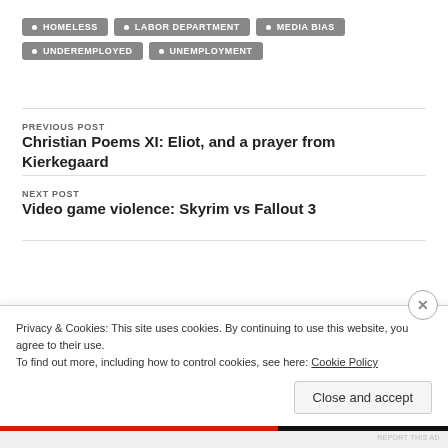HOMELESS
LABOR DEPARTMENT
MEDIA BIAS
UNDEREMPLOYED
UNEMPLOYMENT
PREVIOUS POST
Christian Poems XI: Eliot, and a prayer from Kierkegaard
NEXT POST
Video game violence: Skyrim vs Fallout 3
Privacy & Cookies: This site uses cookies. By continuing to use this website, you agree to their use.
To find out more, including how to control cookies, see here: Cookie Policy
Close and accept